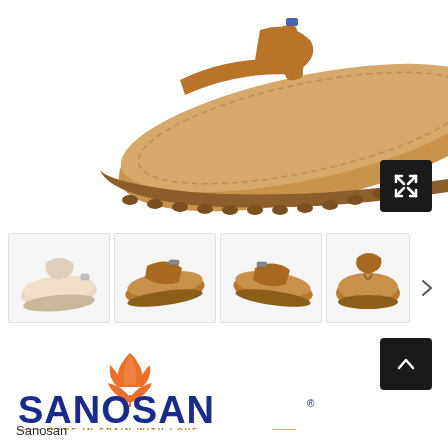[Figure (photo): Close-up product photo of a tan/caramel leather thong sandal showing the footbed, toe post strap, and textured rubber sole from a side-top angle against white background]
[Figure (photo): Four thumbnail images of the same Sanosan sandal from different angles: front-side view in beige/nude, side view in tan, opposite side view in tan, and front view in tan]
[Figure (logo): Sanosan brand logo: orange tulip flower illustration above large bold dark blue SANOSAN. text with registered trademark symbol, and tagline 'MADE IN SPAIN WITH LOVE' in small caps with decorative dashes]
Sanosan